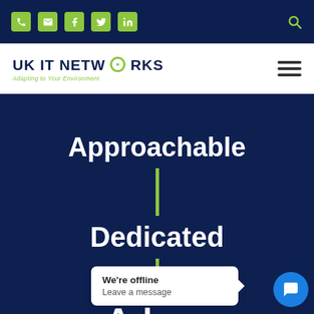[Figure (screenshot): Website header with dark navy top navigation bar containing yellow-green social media icons (phone, email, Facebook, Twitter, LinkedIn) and a search icon on the right.]
[Figure (logo): UK IT Networks logo with tagline 'Adapting to Your Environment' in yellow-green, navigation hamburger menu on the right.]
Approachable
Dedicated
Ad
We're offline
Leave a message